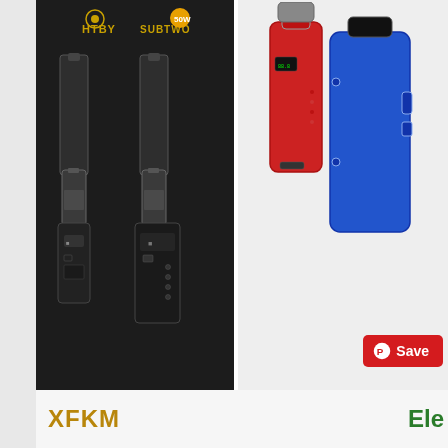[Figure (photo): Product listing page showing two vape/e-cigarette products. Left product: SUB TWO HTBY black box mod kit on dark background. Right product: red and blue box mod vape pens on light background. A red Pinterest Save button is overlaid on the right image.]
SUB TWO Electronic Cigarette HT 50 Box Mod Vape pen 2200mAh ht50 50W E-Cigarette kits
$3.70 – 14.55
XFKM DIY Coil Jig Fo
$9.41 – 10
[Figure (logo): XFKM logo in dark yellow/gold bold text]
[Figure (logo): Ele brand logo in green bold text, partially cropped]